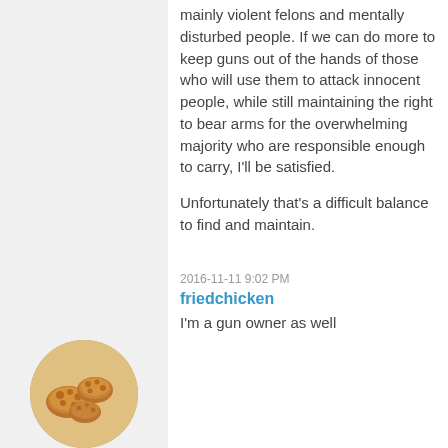mainly violent felons and mentally disturbed people. If we can do more to keep guns out of the hands of those who will use them to attack innocent people, while still maintaining the right to bear arms for the overwhelming majority who are responsible enough to carry, I'll be satisfied.
Unfortunately that's a difficult balance to find and maintain.
2016-11-11 9:02 PM
friedchicken
I'm a gun owner as well
[Figure (photo): Circular avatar showing fried chicken pieces]